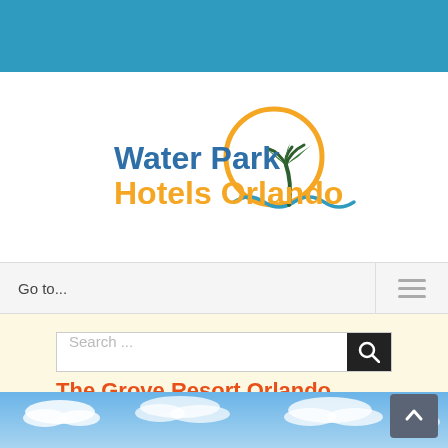[Figure (logo): Water Park Hotels Orlando logo with palm tree, sun circle, and wave motif]
Go to...
Search ...
The Grove Resort Orlando Recreation
Jump to:  |  Reservations  |  Share
[Figure (photo): Blue sky with white clouds, bottom portion of page]